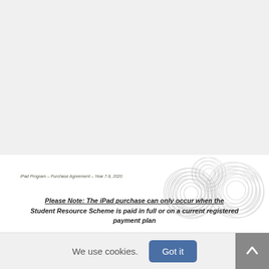[Figure (illustration): Large light gray blank area at top of page, representing a blank/empty document section]
iPad Program – Purchase Agreement – Year 7-9, 2020
[Figure (illustration): Decorative graphic of overlapping circular scribble/spiral shapes in light gray, positioned in the bottom-right area]
Please Note: The iPad purchase can only occur when the Student Resource Scheme is paid in full or on a current registered payment plan
We use cookies.
Got it